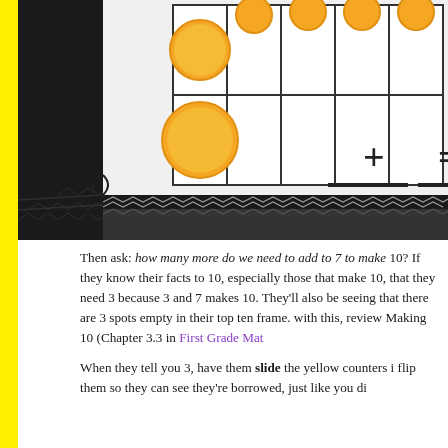[Figure (photo): Close-up photo of a ten-frame math manipulative board with yellow circular counters placed in some cells, showing a plus sign and equals sign on the white board. The board has a decorative black border with cross-hatch pattern.]
Then ask: how many more do we need to add to 7 to make 10? If they know their facts to 10, especially those that make 10, that they need 3 because 3 and 7 makes 10. They'll also be seeing that there are 3 spots empty in their top ten frame. with this, review Making 10 (Chapter 3.3 in First Grade Mat
When they tell you 3, have them slide the yellow counters i flip them so they can see they're borrowed, just like you di